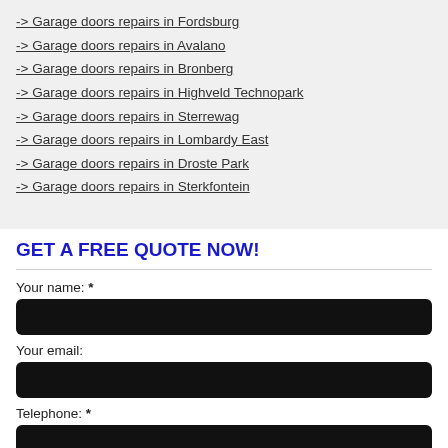-> Garage doors repairs in Fordsburg
-> Garage doors repairs in Avalano
-> Garage doors repairs in Bronberg
-> Garage doors repairs in Highveld Technopark
-> Garage doors repairs in Sterrewag
-> Garage doors repairs in Lombardy East
-> Garage doors repairs in Droste Park
-> Garage doors repairs in Sterkfontein
GET A FREE QUOTE NOW!
Your name: *
Your email:
Telephone: *
Area: *